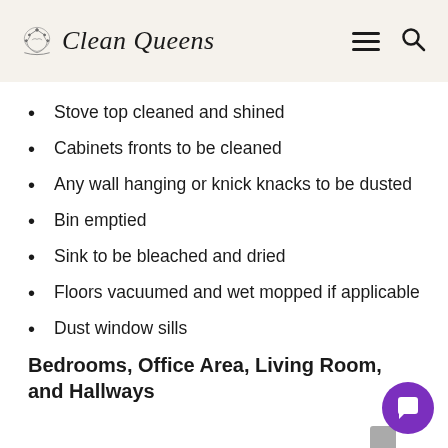Clean Queens
Stove top cleaned and shined
Cabinets fronts to be cleaned
Any wall hanging or knick knacks to be dusted
Bin emptied
Sink to be bleached and dried
Floors vacuumed and wet mopped if applicable
Dust window sills
Bedrooms, Office Area, Living Room, and Hallways